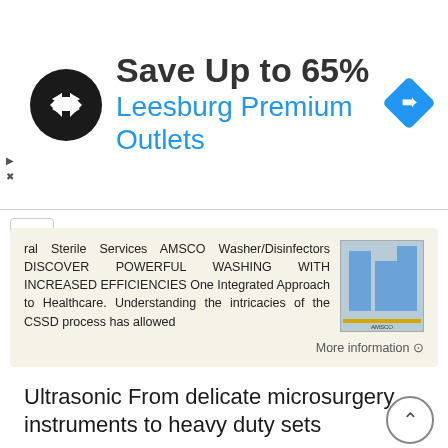[Figure (screenshot): Advertisement banner: black circular logo with double arrow symbol, text 'Save Up to 65%' and 'Leesburg Premium Outlets' in blue, blue diamond navigation icon on the right]
ral Sterile Services AMSCO Washer/Disinfectors DISCOVER POWERFUL WASHING WITH INCREASED EFFICIENCIES One Integrated Approach to Healthcare. Understanding the intricacies of the CSSD process has allowed
More information →
Ultrasonic From delicate microsurgery instruments to heavy duty sets
Ultrasonic From delicate microsurgery instruments to heavy duty sets For the Environmentally conscious Driven by customer needs Steelco is a leading infection control solution provider, supplying the